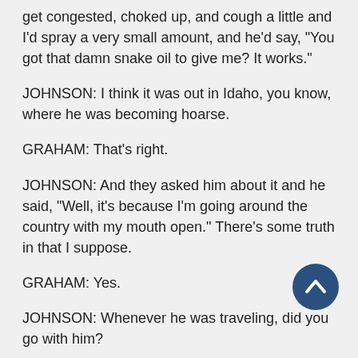get congested, choked up, and cough a little and I'd spray a very small amount, and he'd say, "You got that damn snake oil to give me? It works."
JOHNSON: I think it was out in Idaho, you know, where he was becoming hoarse.
GRAHAM: That's right.
JOHNSON: And they asked him about it and he said, "Well, it's because I'm going around the country with my mouth open." There's some truth in that I suppose.
GRAHAM: Yes.
JOHNSON: Whenever he was traveling, did you go with him?
[54]
GRAHAM: Yes, always.